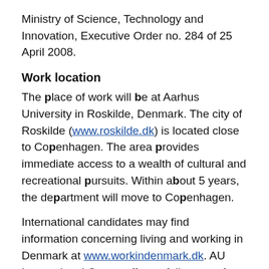Ministry of Science, Technology and Innovation, Executive Order no. 284 of 25 April 2008.
Work location
The place of work will be at Aarhus University in Roskilde, Denmark. The city of Roskilde (www.roskilde.dk) is located close to Copenhagen. The area provides immediate access to a wealth of cultural and recreational pursuits. Within about 5 years, the department will move to Copenhagen.
International candidates may find information concerning living and working in Denmark at www.workindenmark.dk. AU International Center offers a full range of services to make your transition to Denmark as smooth as possible (http://www.au.dk/en/internationalcentre/ias/), and the department will assist foreign